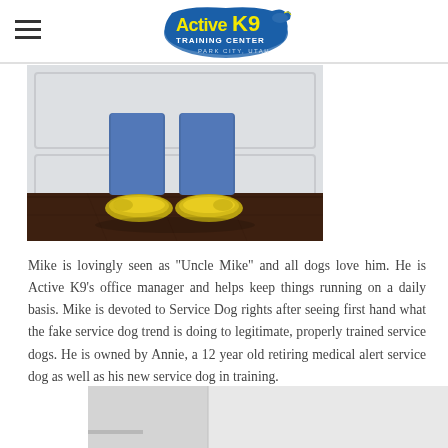Active K9 Training Center – Park City, Utah
[Figure (photo): Lower half of a person standing in jeans and yellow sneakers on a dark hardwood floor, leaning against a white door/wall.]
Mike is lovingly seen as "Uncle Mike" and all dogs love him. He is Active K9's office manager and helps keep things running on a daily basis. Mike is devoted to Service Dog rights after seeing first hand what the fake service dog trend is doing to legitimate, properly trained service dogs. He is owned by Annie, a 12 year old retiring medical alert service dog as well as his new service dog in training.
[Figure (photo): Bottom of next photo partially visible — appears to be another staff or dog photo, mostly gray/light background.]